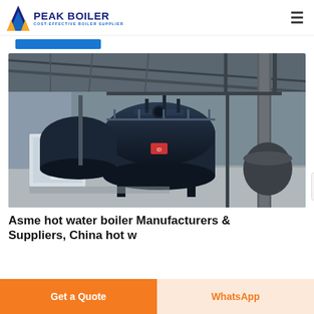PEAK BOILER COST-EFFECTIVE BOILER SUPPLIER
[Figure (photo): Industrial boiler equipment inside a manufacturing facility. Shows large cylindrical boilers with piping and metal structure framework in background.]
Asme hot water boiler Manufacturers & Suppliers, China hot w...